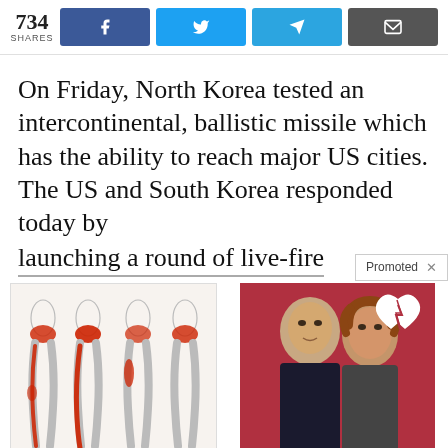734 SHARES [Facebook] [Twitter] [Telegram] [Email]
On Friday, North Korea tested an intercontinental, ballistic missile which has the ability to reach major US cities. The US and South Korea responded today by launching a round of live-fire
[Figure (photo): Medical illustration showing sciatic nerve pain in human body figures with red highlighted pain areas along the leg]
Suffering From Chronic Sciatic Nerve Pain? Here's A Secret You Need To Know
90,410
[Figure (photo): Photo of two celebrities (man and woman) against a red background with a broken heart graphic. These Celebs Fell In Love While Working Together]